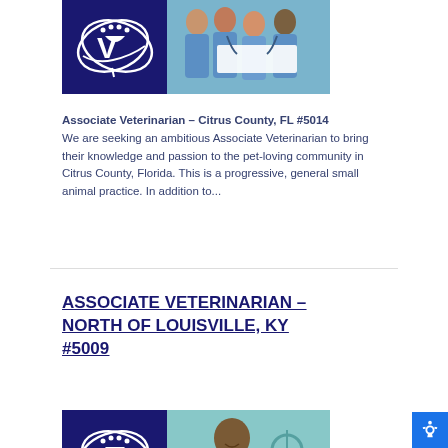[Figure (photo): Veterinary clinic logo (dark blue with CV emblem) on left, and photo of medical professionals in scrubs reviewing a document on the right]
Associate Veterinarian – Citrus County, FL #5014 We are seeking an ambitious Associate Veterinarian to bring their knowledge and passion to the pet-loving community in Citrus County, Florida. This is a progressive, general small animal practice. In addition to...
ASSOCIATE VETERINARIAN – NORTH OF LOUISVILLE, KY #5009
[Figure (photo): Veterinary clinic logo (dark blue with CV emblem) on left, and photo of a smiling medical professional on the right]